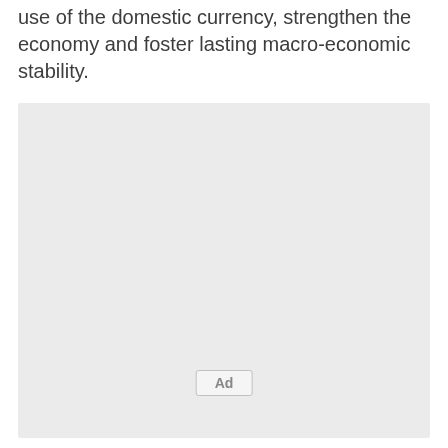use of the domestic currency, strengthen the economy and foster lasting macro-economic stability.
[Figure (other): Advertisement placeholder box with 'Ad' label centered near the bottom]